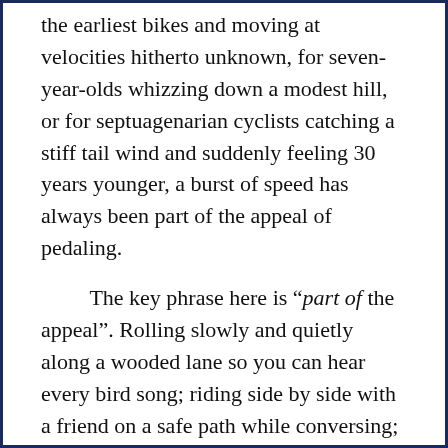the earliest bikes and moving at velocities hitherto unknown, for seven-year-olds whizzing down a modest hill, or for septuagenarian cyclists catching a stiff tail wind and suddenly feeling 30 years younger, a burst of speed has always been part of the appeal of pedaling.
The key phrase here is “part of the appeal”. Rolling slowly and quietly along a wooded lane so you can hear every bird song; riding side by side with a friend on a safe path while conversing; getting to work in half the time it would take to walk, without breaking a sweat; or carrying a heavy load of groceries home on your bike without straining arms or back – these are no less important aspects of the appeal of biking.
Furthermore, the thrill of going fast is not actually increased by having that speed measured.